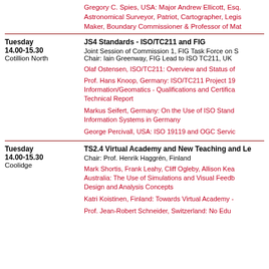Gregory C. Spies, USA: Major Andrew Ellicott, Esq. Astronomical Surveyor, Patriot, Cartographer, Legis Maker, Boundary Commissioner & Professor of Mat
Tuesday 14.00-15.30 Cotillion North
JS4 Standards - ISO/TC211 and FIG
Joint Session of Commission 1, FIG Task Force on Standards
Chair: Iain Greenway, FIG Lead to ISO TC211, UK
Olaf Ostensen, ISO/TC211: Overview and Status of
Prof. Hans Knoop, Germany: ISO/TC211 Project 19 Information/Geomatics - Qualifications and Certifica Technical Report
Markus Seifert, Germany: On the Use of ISO Stand Information Systems in Germany
George Percivall, USA: ISO 19119 and OGC Servic
Tuesday 14.00-15.30 Coolidge
TS2.4 Virtual Academy and New Teaching and Le
Chair: Prof. Henrik Haggrén, Finland
Mark Shortis, Frank Leahy, Cliff Ogleby, Allison Kea Australia: The Use of Simulations and Visual Feedb Design and Analysis Concepts
Katri Koistinen, Finland: Towards Virtual Academy -
Prof. Jean-Robert Schneider, Switzerland: No Edu